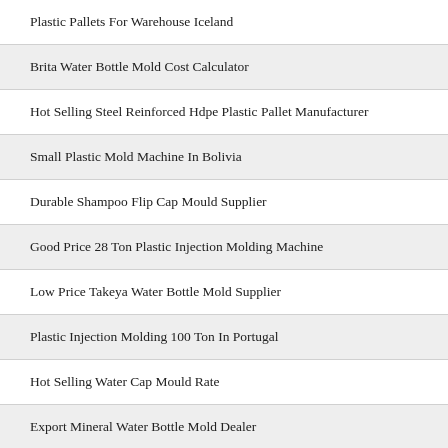Plastic Pallets For Warehouse Iceland
Brita Water Bottle Mold Cost Calculator
Hot Selling Steel Reinforced Hdpe Plastic Pallet Manufacturer
Small Plastic Mold Machine In Bolivia
Durable Shampoo Flip Cap Mould Supplier
Good Price 28 Ton Plastic Injection Molding Machine
Low Price Takeya Water Bottle Mold Supplier
Plastic Injection Molding 100 Ton In Portugal
Hot Selling Water Cap Mould Rate
Export Mineral Water Bottle Mold Dealer